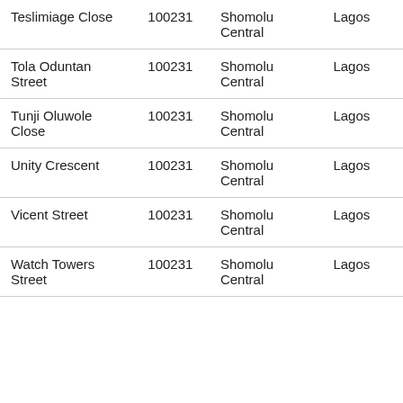| Teslimiage Close | 100231 | Shomolu Central | Lagos |
| Tola Oduntan Street | 100231 | Shomolu Central | Lagos |
| Tunji Oluwole Close | 100231 | Shomolu Central | Lagos |
| Unity Crescent | 100231 | Shomolu Central | Lagos |
| Vicent Street | 100231 | Shomolu Central | Lagos |
| Watch Towers Street | 100231 | Shomolu Central | Lagos |